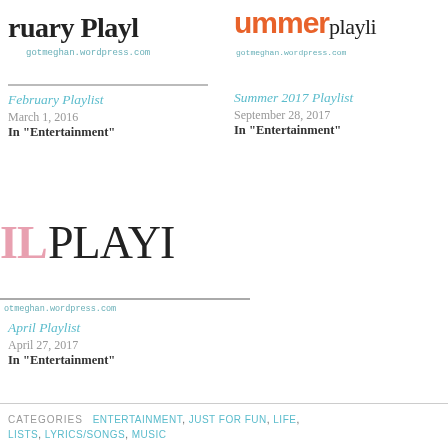[Figure (illustration): Thumbnail image for February Playlist blog post showing large bold text 'ruary Playl' with URL gotmeghan.wordpress.com]
gotmeghan.wordpress.com
February Playlist
March 1, 2016
In "Entertainment"
[Figure (illustration): Thumbnail image for Summer 2017 Playlist blog post showing 'ummer' in orange bold sans-serif and 'playli' in serif, with URL gotmeghan.wordpress.com]
gotmeghan.wordpress.com
Summer 2017 Playlist
September 28, 2017
In "Entertainment"
[Figure (illustration): Thumbnail image for April Playlist blog post showing 'IL' in pink and 'PLAYI' in large serif, with URL otmeghan.wordpress.com]
otmeghan.wordpress.com
April Playlist
April 27, 2017
In "Entertainment"
CATEGORIES  ENTERTAINMENT, JUST FOR FUN, LIFE, LISTS, LYRICS/SONGS, MUSIC